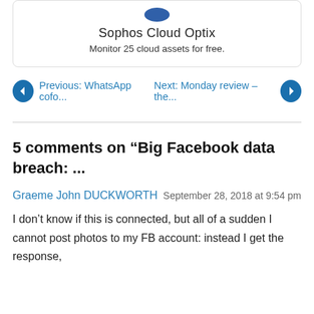[Figure (logo): Sophos Cloud Optix logo icon (partial, top cropped)]
Sophos Cloud Optix
Monitor 25 cloud assets for free.
Previous: WhatsApp cofo...
Next: Monday review – the...
5 comments on “Big Facebook data breach: ...
Graeme John DUCKWORTH
September 28, 2018 at 9:54 pm
I don’t know if this is connected, but all of a sudden I cannot post photos to my FB account: instead I get the response,